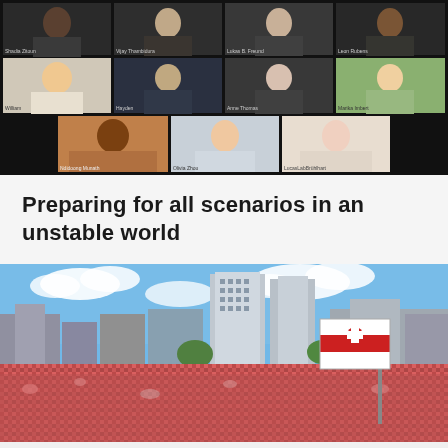[Figure (photo): Screenshot of a video conference call showing 11 participants in a grid layout on a dark background. Participants include Shadia Zitoun, Vijay Thambidura, Lukas B. Freund, Leon Rubens, William, Hayden, Anne Thomas, Marika Imbert, Ndidoong Munath, Olivia Zhou, and another participant.]
Preparing for all scenarios in an unstable world
[Figure (photo): Wide panoramic photo of a large outdoor protest or rally in what appears to be a city square. A massive crowd fills the foreground, with city buildings and skyscrapers visible in the background under a blue sky with clouds. A large red-and-white striped flag (resembling the historical Belarusian flag) is visible on the right side.]